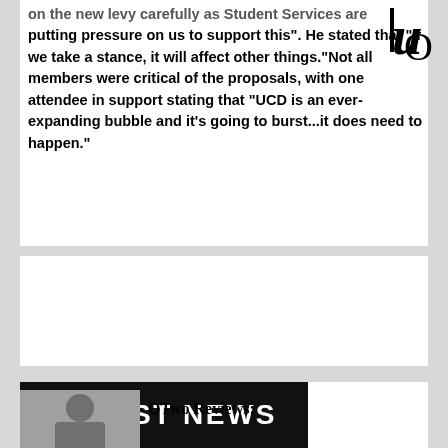UO logo
on the new levy carefully as Student Services are putting pressure on us to support this". He stated that "if we take a stance, it will affect other things."Not all members were critical of the proposals, with one attendee in support stating that "UCD is an ever-expanding bubble and it's going to burst...it does need to happen."
[Figure (photo): Advertisement or blank white card area]
LATEST NEWS
[Figure (photo): Small portrait photo, grayscale]
OTwo Reviews: